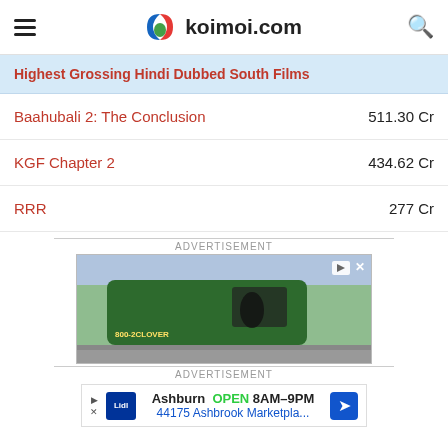koimoi.com
Highest Grossing Hindi Dubbed South Films
| Film | Gross |
| --- | --- |
| Baahubali 2: The Conclusion | 511.30 Cr |
| KGF Chapter 2 | 434.62 Cr |
| RRR | 277 Cr |
[Figure (photo): Advertisement image showing a green van with 'Air Conditioning' text and 800-2CLOVER phone number]
[Figure (screenshot): Advertisement for Lidl store in Ashburn, OPEN 8AM-9PM, 44175 Ashbrook Marketpla...]